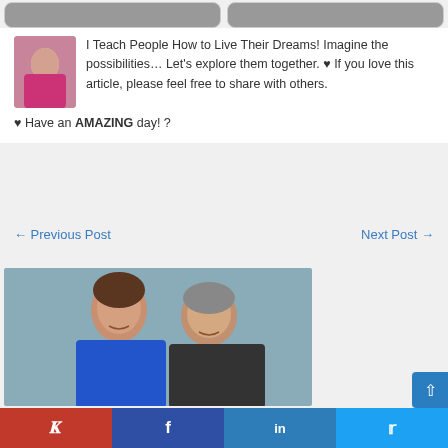[Figure (photo): Two rounded thumbnail image cards at top]
[Figure (photo): Small profile photo of a woman in a pink top]
I Teach People How to Live Their Dreams! Imagine the possibilities… Let's explore them together. ♥ If you love this article, please feel free to share with others.
♥ Have an AMAZING day! ?
← Previous Post
Next Post →
[Figure (photo): Couple portrait photo — woman in blue top and man in dark top, smiling]
[Figure (infographic): Social sharing bar with Pinterest, Facebook, LinkedIn, Twitter buttons]